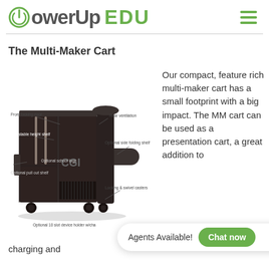PowerUp EDU
The Multi-Maker Cart
[Figure (illustration): Product photo of the Multi-Maker Cart with labeled callouts: Front locking door, Adjustable height shelf, Optional school logo, Optional pull out shelf, Rear ventilation, Optional side folding shelf, Locking & swivel casters, Optional 10 slot device holder w/charging]
Our compact, feature rich multi-maker cart has a small footprint with a big impact. The MM cart can be used as a presentation cart, a great addition to charging and
Agents Available! Chat now